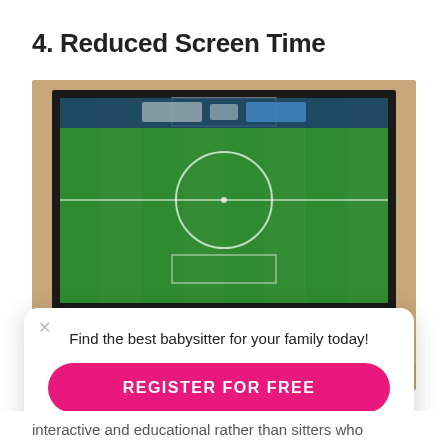4. Reduced Screen Time
[Figure (photo): Hands holding a white PlayStation game controller in front of a TV screen showing a soccer/football video game with green pitch visible]
Find the best babysitter for your family today!
REGISTER FOR FREE
interactive and educational rather than sitters who